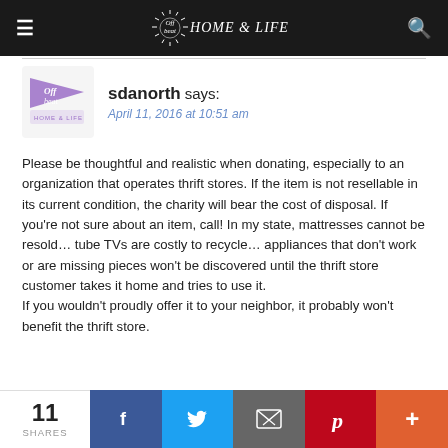Offbeat HOME & LIFE
sdanorth says:
April 11, 2016 at 10:51 am
Please be thoughtful and realistic when donating, especially to an organization that operates thrift stores. If the item is not resellable in its current condition, the charity will bear the cost of disposal. If you're not sure about an item, call! In my state, mattresses cannot be resold… tube TVs are costly to recycle… appliances that don't work or are missing pieces won't be discovered until the thrift store customer takes it home and tries to use it.
If you wouldn't proudly offer it to your neighbor, it probably won't benefit the thrift store.
11 SHARES  [Facebook] [Twitter] [Email] [Pinterest] [More]